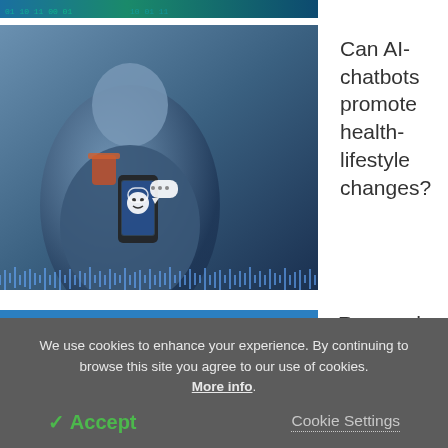[Figure (photo): Partial cropped top of image — appears to be a tech/AI themed image with blue-green tones]
[Figure (photo): Person holding a smartphone with AI chatbot icons (speech bubbles with robot face) overlay, blue-toned image]
Can AI-chatbots promote health-lifestyle changes?
Researchers aim to create an AI algorithm for early detection of autism in children
We use cookies to enhance your experience. By continuing to browse this site you agree to our use of cookies. More info.
✓ Accept
Cookie Settings